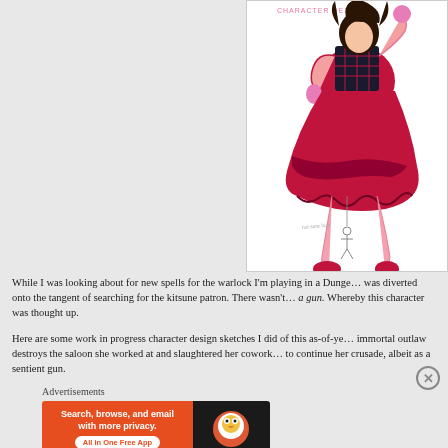[Figure (illustration): Anime-style character illustration of a girl in a pink and dark red/maroon ruffled dress with pink tights and red shoes, sitting cross-legged. She has dark hair. A small sketch of a figure/doll is hanging below her. The illustration is on a white background.]
While I was looking about for new spells for the warlock I'm playing in a Dungeo… was diverted onto the tangent of searching for the kitsune patron. There wasn't… a gun. Whereby this character was thought up.
Here are some work in progress character design sketches I did of this as-of-ye… immortal outlaw destroys the saloon she worked at and slaughtered her cowork… to continue her crusade, albeit as a sentient gun.
Advertisements
[Figure (screenshot): DuckDuckGo advertisement banner with orange left side reading 'Search, browse, and email with more privacy. All in One Free App' and dark right side with DuckDuckGo logo duck icon.]